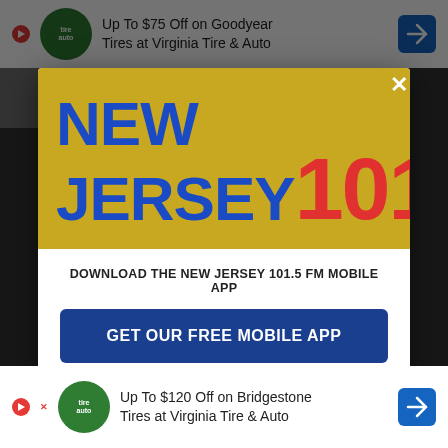[Figure (screenshot): Background webpage partially visible behind modal overlay, showing a dimmed website with navigation elements]
[Figure (infographic): Top advertisement banner: 'Up To $75 Off on Goodyear Tires at Virginia Tire & Auto' with green tire brand logo and blue arrow icon]
[Figure (infographic): New Jersey 101.5 FM radio station modal popup with yellow/gold header containing the station logo in blue and red, white body with download CTA]
DOWNLOAD THE NEW JERSEY 101.5 FM MOBILE APP
GET OUR FREE MOBILE APP
Also listen on: amazon alexa
[Figure (infographic): Bottom advertisement banner: 'Up To $120 Off on Bridgestone Tires at Virginia Tire & Auto' with green tire brand logo and blue arrow icon]